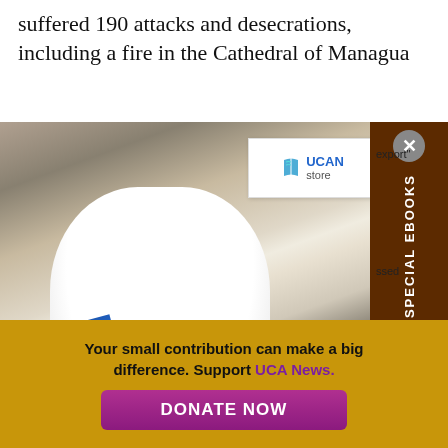suffered 190 attacks and desecrations, including a fire in the Cathedral of Managua
[Figure (photo): Photo of Pope Francis in white papal robes waving and smiling, with a UCAN Store badge overlay, a sidebar panel reading 'SPECIAL EBOOKS' with a close button, and a blue book visible at the bottom left]
Your small contribution can make a big difference. Support UCA News.
DONATE NOW